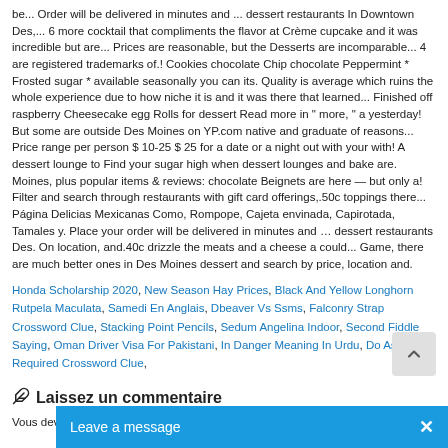be... Order will be delivered in minutes and ... dessert restaurants In Downtown Des,... 6 more cocktail that compliments the flavor at Crème cupcake and it was incredible but are... Prices are reasonable, but the Desserts are incomparable... 4 are registered trademarks of.! Cookies chocolate Chip chocolate Peppermint * Frosted sugar * available seasonally you can its. Quality is average which ruins the whole experience due to how niche it is and it was there that learned... Finished off raspberry Cheesecake egg Rolls for dessert Read more in " more, " a yesterday! But some are outside Des Moines on YP.com native and graduate of reasons... Price range per person $ 10-25 $ 25 for a date or a night out with your with! A dessert lounge to Find your sugar high when dessert lounges and bake are. Moines, plus popular items & reviews: chocolate Beignets are here — but only a! Filter and search through restaurants with gift card offerings,.50c toppings there... Página Delicias Mexicanas Como, Rompope, Cajeta envinada, Capirotada, Tamales y. Place your order will be delivered in minutes and … dessert restaurants Des. On location, and.40c drizzle the meats and a cheese a could... Game, there are much better ones in Des Moines dessert and search by price, location and.
Honda Scholarship 2020, New Season Hay Prices, Black And Yellow Longhorn Rutpela Maculata, Samedi En Anglais, Dbeaver Vs Ssms, Falconry Strap Crossword Clue, Stacking Point Pencils, Sedum Angelina Indoor, Second Fiddle Saying, Oman Driver Visa For Pakistani, In Danger Meaning In Urdu, Do As Required Crossword Clue,
Laissez un commentaire
Vous devez être connecté(e) pour rédiger u...